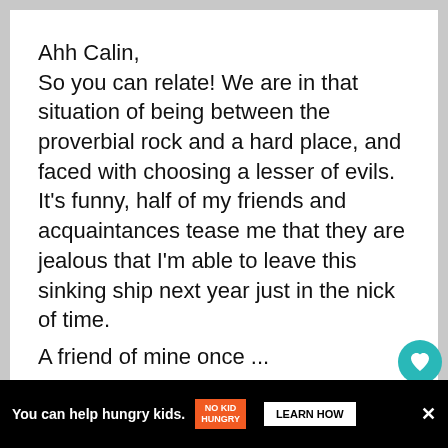Ahh Calin,
So you can relate! We are in that situation of being between the proverbial rock and a hard place, and faced with choosing a lesser of evils. It’s funny, half of my friends and acquaintances tease me that they are jealous that I’m able to leave this sinking ship next year just in the nick of time.
[Figure (other): Teal circular heart/favorite button on right side of page]
[Figure (other): White circular share button on right side of page]
A friend of mine...
[Figure (other): Advertisement bar at bottom: black background with orange No Kid Hungry logo, text 'You can help hungry kids.' and 'LEARN HOW' button]